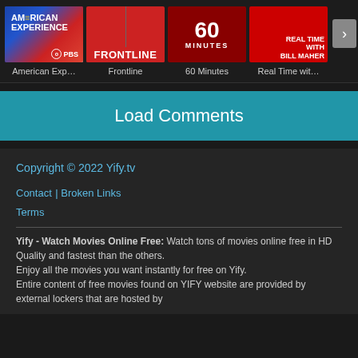[Figure (screenshot): Horizontal scrollable TV show thumbnails: American Experience (PBS), Frontline, 60 Minutes, Real Time with Bill Maher, with a right arrow navigation button]
American Exp...
Frontline
60 Minutes
Real Time wit...
Load Comments
Copyright © 2022 Yify.tv
Contact | Broken Links
Terms
Yify - Watch Movies Online Free: Watch tons of movies online free in HD Quality and fastest than the others.
Enjoy all the movies you want instantly for free on Yify.
Entire content of free movies found on YIFY website are provided by external lockers that are hosted by